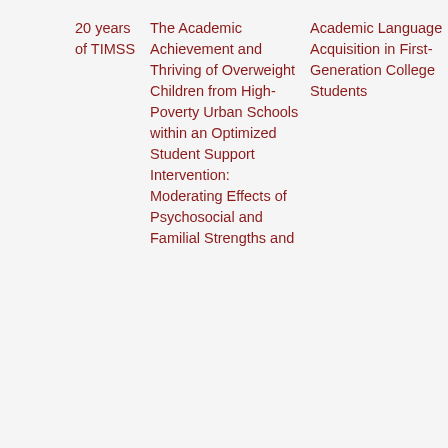20 years of TIMSS
The Academic Achievement and Thriving of Overweight Children from High-Poverty Urban Schools within an Optimized Student Support Intervention: Moderating Effects of Psychosocial and Familial Strengths and
Academic Language Acquisition in First-Generation College Students